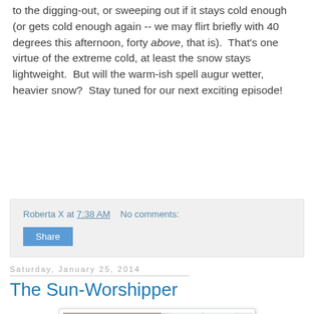to the digging-out, or sweeping out if it stays cold enough (or gets cold enough again -- we may flirt briefly with 40 degrees this afternoon, forty above, that is).  That's one virtue of the extreme cold, at least the snow stays lightweight.  But will the warm-ish spell augur wetter, heavier snow?  Stay tuned for our next exciting episode!
Roberta X at 7:38 AM    No comments:
Share
Saturday, January 25, 2014
The Sun-Worshipper
[Figure (photo): An orange tabby cat lying by a window in sunlight, looking toward the camera]